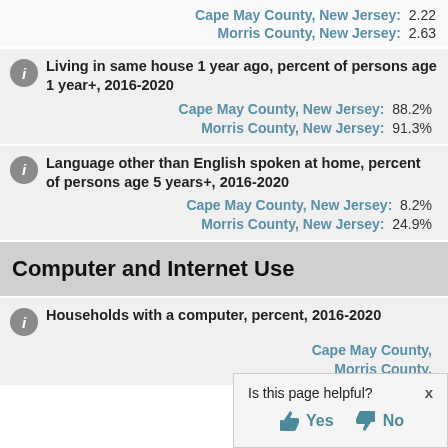Cape May County, New Jersey: 2.22
Morris County, New Jersey: 2.63
Living in same house 1 year ago, percent of persons age 1 year+, 2016-2020
Cape May County, New Jersey: 88.2%
Morris County, New Jersey: 91.3%
Language other than English spoken at home, percent of persons age 5 years+, 2016-2020
Cape May County, New Jersey: 8.2%
Morris County, New Jersey: 24.9%
Computer and Internet Use
Households with a computer, percent, 2016-2020
Cape May County,
Morris County,
Is this page helpful? x Yes No